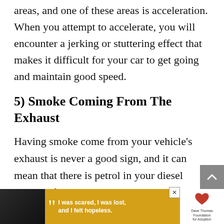areas, and one of these areas is acceleration. When you attempt to accelerate, you will encounter a jerking or stuttering effect that makes it difficult for your car to get going and maintain good speed.
5) Smoke Coming From The Exhaust
Having smoke come from your vehicle’s exhaust is never a good sign, and it can mean that there is petrol in your diesel engine. If you don’t see smoke, you can also place your hand on your vehicle’s hood to gauge the temperature. It is not a good sign if it feels unnaturally hot,
[Figure (other): Advertisement banner at bottom of page: black and white photo of a young woman on the left, yellow/gold background with quote 'I was scared, I was lost, and I felt hopeless.' with a heart logo for Dave Thomas Foundation for Adoption on the right. An X close button is visible.]